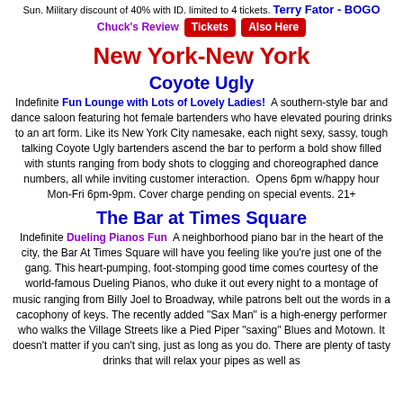Sun. Military discount of 40% with ID. limited to 4 tickets. Terry Fator - BOGO Chuck's Review [Tickets] [Also Here]
New York-New York
Coyote Ugly
Indefinite Fun Lounge with Lots of Lovely Ladies! A southern-style bar and dance saloon featuring hot female bartenders who have elevated pouring drinks to an art form. Like its New York City namesake, each night sexy, sassy, tough talking Coyote Ugly bartenders ascend the bar to perform a bold show filled with stunts ranging from body shots to clogging and choreographed dance numbers, all while inviting customer interaction. Opens 6pm w/happy hour Mon-Fri 6pm-9pm. Cover charge pending on special events. 21+
The Bar at Times Square
Indefinite Dueling Pianos Fun A neighborhood piano bar in the heart of the city, the Bar At Times Square will have you feeling like you're just one of the gang. This heart-pumping, foot-stomping good time comes courtesy of the world-famous Dueling Pianos, who duke it out every night to a montage of music ranging from Billy Joel to Broadway, while patrons belt out the words in a cacophony of keys. The recently added "Sax Man" is a high-energy performer who walks the Village Streets like a Pied Piper "saxing" Blues and Motown. It doesn't matter if you can't sing, just as long as you do. There are plenty of tasty drinks that will relax your pipes as well as